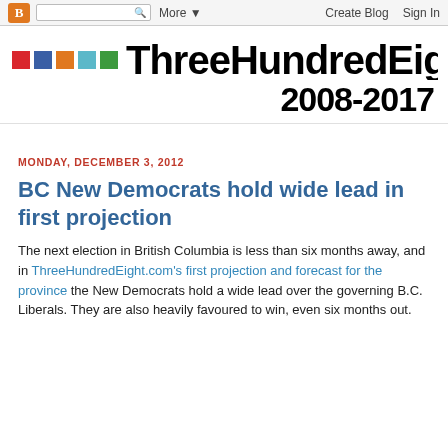B | [search] More ▼   Create Blog   Sign In
ThreeHundredEig 2008-2017
MONDAY, DECEMBER 3, 2012
BC New Democrats hold wide lead in first projection
The next election in British Columbia is less than six months away, and in ThreeHundredEight.com's first projection and forecast for the province the New Democrats hold a wide lead over the governing B.C. Liberals. They are also heavily favoured to win, even six months out.